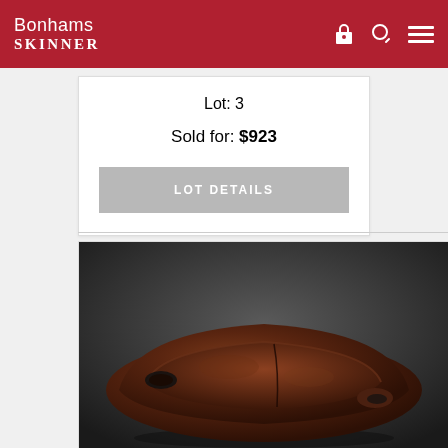Bonhams SKINNER
Lot: 3
Sold for: $923
LOT DETAILS
[Figure (photo): A large dark brown wooden bowl with two oval cut-out handles on each side, photographed against a dark grey gradient background. The bowl has an asymmetric, elongated shape with textured dark reddish-brown surface and visible grain/crack lines.]